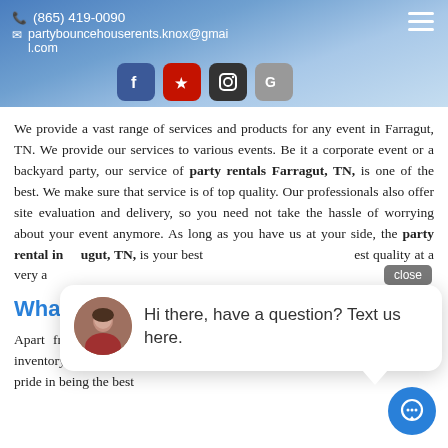(865) 419-0090  partybouncehouserents.knox@gmail.com
[Figure (screenshot): Social media icons: Facebook (blue), Yelp (red), Instagram (black), Google (gray)]
We provide a vast range of services and products for any event in Farragut, TN. We provide our services to various events. Be it a corporate event or a backyard party, our service of party rentals Farragut, TN, is one of the best. We make sure that service is of top quality. Our professionals also offer site evaluation and delivery, so you need not take the hassle of worrying about your event anymore. As long as you have us at your side, the party rental in Farragut, TN, is your best ... best quality at a very a...
What Are T...
Apart from the vast bounce house and water slid... our party rentals inventory, we also provide tents, table... rs, and related products. We take pride in being the best
[Figure (screenshot): Chat popup with avatar photo of a woman and message: Hi there, have a question? Text us here. Close button visible at top right of popup.]